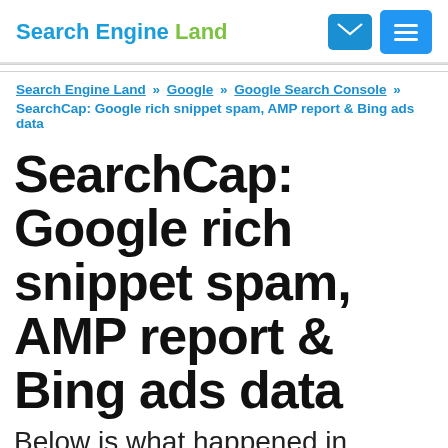Search Engine Land
Search Engine Land » Google » Google Search Console » SearchCap: Google rich snippet spam, AMP report & Bing ads data
SearchCap: Google rich snippet spam, AMP report & Bing ads data
Below is what happened in search today, as reported on Search Engine Land and from other places across the web